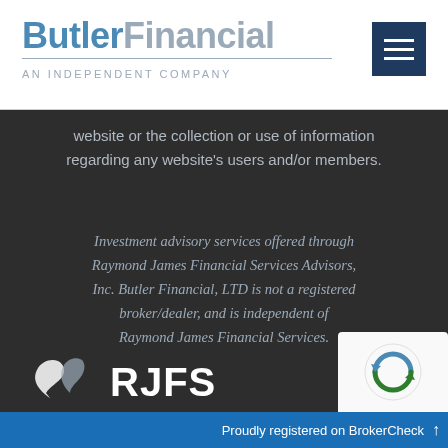[Figure (logo): Butler Financial logo with navy blue 'Butler' and grey 'Financial' text, horizontal rule, and tagline 'AN INDEPENDENT COMPANY']
[Figure (other): Dark navy hamburger menu button (three horizontal lines)]
website or the collection or use of information regarding any website's users and/or members.
Investment advisory services offered through Raymond James Financial Services Advisors, Inc. Butler Financial, LTD is not a registered broker/dealer, and is independent of Raymond James Financial Services.
[Figure (logo): Raymond James logo (partial, white on dark background)]
[Figure (other): reCAPTCHA widget]
Proudly registered on BrokerCheck ↑